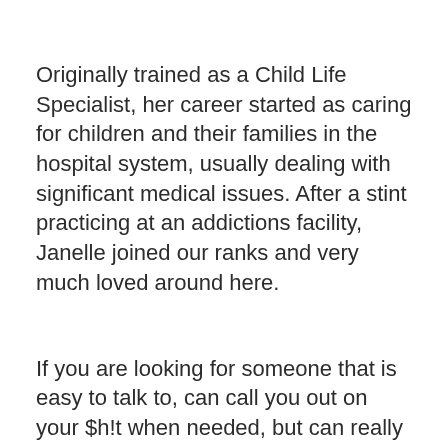Originally trained as a Child Life Specialist, her career started as caring for children and their families in the hospital system, usually dealing with significant medical issues. After a stint practicing at an addictions facility, Janelle joined our ranks and very much loved around here.
If you are looking for someone that is easy to talk to, can call you out on your $h!t when needed, but can really help you look deeply, inwardly to find some honest answers to your tough problems, then you found your person.